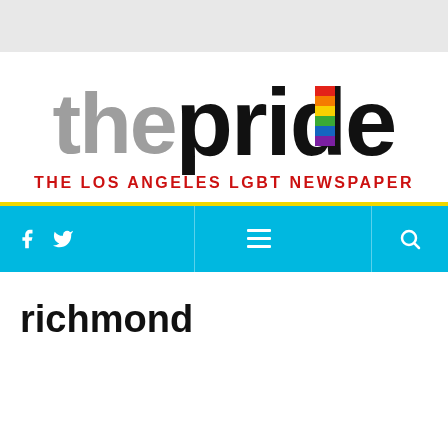[Figure (logo): The Pride newspaper logo with 'the' in gray and 'pride' in black bold, with a rainbow stripe replacing the 'i', and subtitle 'THE LOS ANGELES LGBT NEWSPAPER' in red]
[Figure (screenshot): Navigation bar in cyan/blue with Facebook and Twitter icons on left, hamburger menu, and search icon on right]
richmond